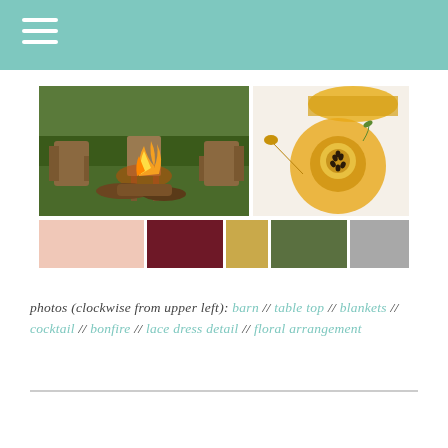[Figure (photo): Outdoor bonfire scene with wooden chairs arranged in a garden setting, logs stacked around a fire pit with open flames]
[Figure (photo): Table top view of golden cocktail drinks garnished with passion fruit and herbs, with honey dipper visible]
[Figure (infographic): Color palette swatches: blush pink, dark maroon, gold/mustard, sage green, light gray]
photos (clockwise from upper left): barn // table top // blankets // cocktail // bonfire // lace dress detail // floral arrangement